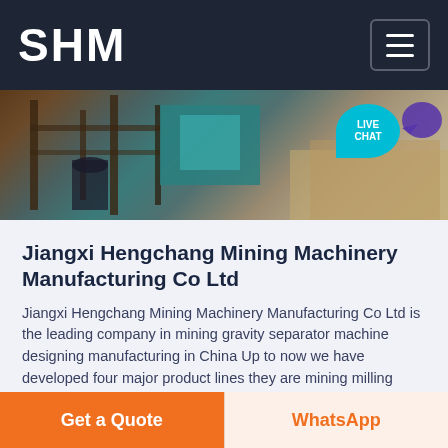SHM
[Figure (photo): Mining machinery equipment at a quarry/mining site, showing machinery frames, conveyor belts, and gravel piles. Live Chat button visible in top right corner.]
Jiangxi Hengchang Mining Machinery Manufacturing Co Ltd
Jiangxi Hengchang Mining Machinery Manufacturing Co Ltd is the leading company in mining gravity separator machine designing manufacturing in China Up to now we have developed four major product lines they are mining milling machine mining classifying
Get a Quote | WhatsApp